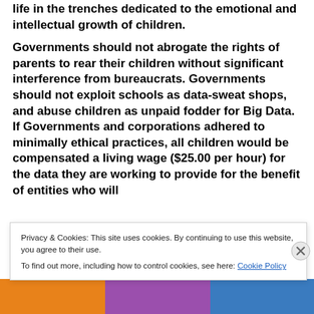life in the trenches dedicated to the emotional and intellectual growth of children.
Governments should not abrogate the rights of parents to rear their children without significant interference from bureaucrats. Governments should not exploit schools as data-sweat shops, and abuse children as unpaid fodder for Big Data. If Governments and corporations adhered to minimally ethical practices, all children would be compensated a living wage ($25.00 per hour) for the data they are working to provide for the benefit of entities who will
Privacy & Cookies: This site uses cookies. By continuing to use this website, you agree to their use.
To find out more, including how to control cookies, see here: Cookie Policy
Close and accept